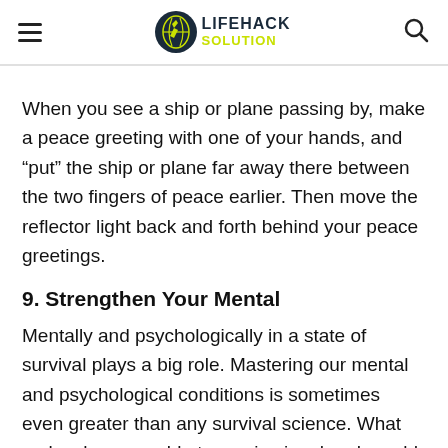LIFEHACK SOLUTION
When you see a ship or plane passing by, make a peace greeting with one of your hands, and “put” the ship or plane far away there between the two fingers of peace earlier. Then move the reflector light back and forth behind your peace greetings.
9. Strengthen Your Mental
Mentally and psychologically in a state of survival plays a big role. Mastering our mental and psychological conditions is sometimes even greater than any survival science. What makes humans able to survive in a harsh world is a positive attitude, peace